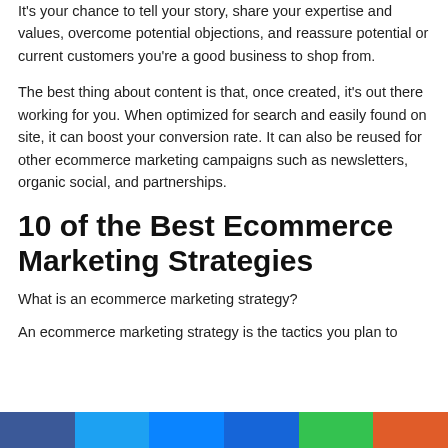It's your chance to tell your story, share your expertise and values, overcome potential objections, and reassure potential or current customers you're a good business to shop from.
The best thing about content is that, once created, it's out there working for you. When optimized for search and easily found on site, it can boost your conversion rate. It can also be reused for other ecommerce marketing campaigns such as newsletters, organic social, and partnerships.
10 of the Best Ecommerce Marketing Strategies
What is an ecommerce marketing strategy?
An ecommerce marketing strategy is the tactics you plan to